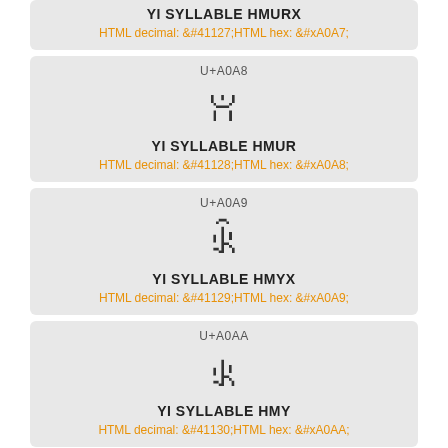YI SYLLABLE HMURX
HTML decimal: &#41127;HTML hex: &#xA0A7;
U+A0A8
[Figure (other): Yi syllable character glyph box for U+A0A8]
YI SYLLABLE HMUR
HTML decimal: &#41128;HTML hex: &#xA0A8;
U+A0A9
[Figure (other): Yi syllable character glyph box for U+A0A9]
YI SYLLABLE HMYX
HTML decimal: &#41129;HTML hex: &#xA0A9;
U+A0AA
[Figure (other): Yi syllable character glyph box for U+A0AA]
YI SYLLABLE HMY
HTML decimal: &#41130;HTML hex: &#xA0AA;